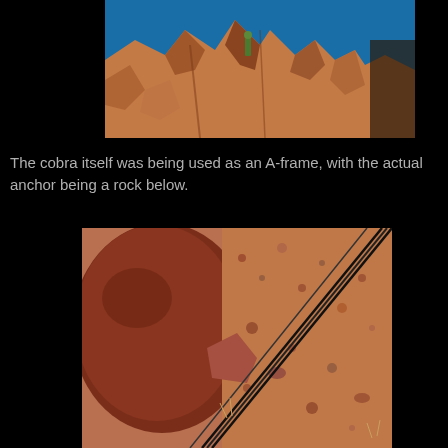[Figure (photo): Looking up at tall red rock formation with a person visible in green clothing climbing the cliff face, blue sky in background]
The cobra itself was being used as an A-frame, with the actual anchor being a rock below.
[Figure (photo): Close-up of a large red rounded boulder rock on desert terrain with dark rope or cable running diagonally across sandy reddish ground]